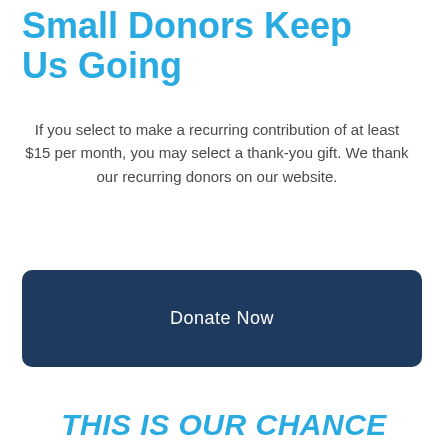Small Donors Keep Us Going
If you select to make a recurring contribution of at least $15 per month, you may select a thank-you gift. We thank our recurring donors on our website.
[Figure (other): Dark navy blue button with text 'Donate Now' in white, rounded rectangle shape]
THIS IS OUR CHANCE TO REIMAGINE A WORLD BEYOND WAR
[Figure (illustration): Partial globe illustration in dark navy blue showing world map continents]